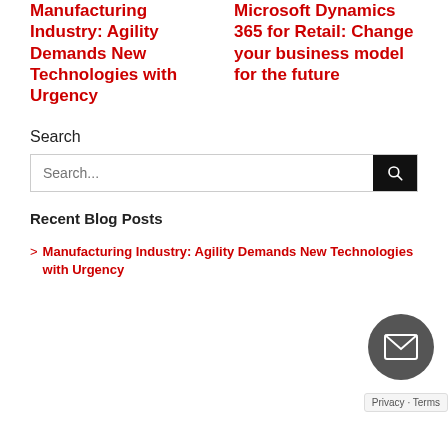Manufacturing Industry: Agility Demands New Technologies with Urgency
Microsoft Dynamics 365 for Retail: Change your business model for the future
Search
Recent Blog Posts
Manufacturing Industry: Agility Demands New Technologies with Urgency